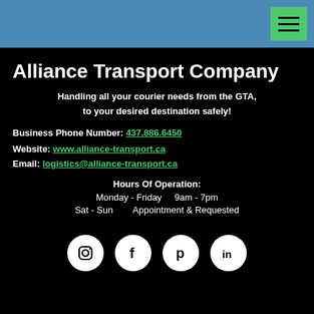Alliance Transport Company - navigation header with menu button
Alliance Transport Company
Handling all your courier needs from the GTA, to your desired destination safely!
Business Phone Number: 437.886.6450
Website: www.alliance-transport.ca
Email: logistics@alliance-transport.ca
Hours Of Operation:
Monday - Friday   9am - 7pm
Sat - Sun   Appointment & Requested
[Figure (infographic): Social media icons: Instagram, Facebook, Pinterest, LinkedIn — white circles on black background]